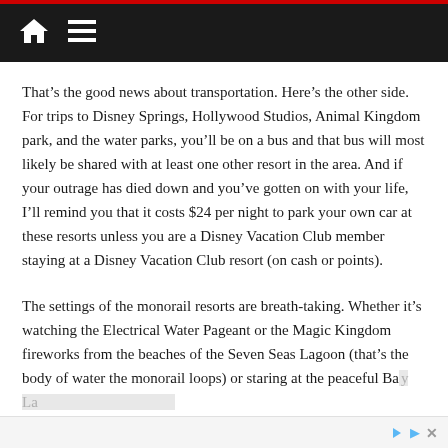[Home icon] [Menu icon]
That’s the good news about transportation. Here’s the other side. For trips to Disney Springs, Hollywood Studios, Animal Kingdom park, and the water parks, you’ll be on a bus and that bus will most likely be shared with at least one other resort in the area. And if your outrage has died down and you’ve gotten on with your life, I’ll remind you that it costs $24 per night to park your own car at these resorts unless you are a Disney Vacation Club member staying at a Disney Vacation Club resort (on cash or points).
The settings of the monorail resorts are breath-taking. Whether it’s watching the Electrical Water Pageant or the Magic Kingdom fireworks from the beaches of the Seven Seas Lagoon (that’s the body of water the monorail loops) or staring at the peaceful Bay La…